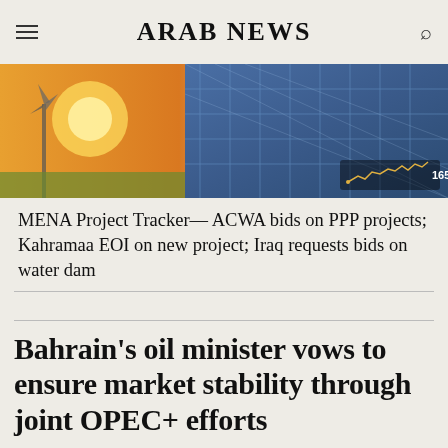ARAB NEWS
[Figure (photo): Solar panels and wind turbines against a warm orange and blue sky, with a stock chart overlay showing 1651]
MENA Project Tracker— ACWA bids on PPP projects; Kahramaa EOI on new project; Iraq requests bids on water dam
Bahrain's oil minister vows to ensure market stability through joint OPEC+ efforts